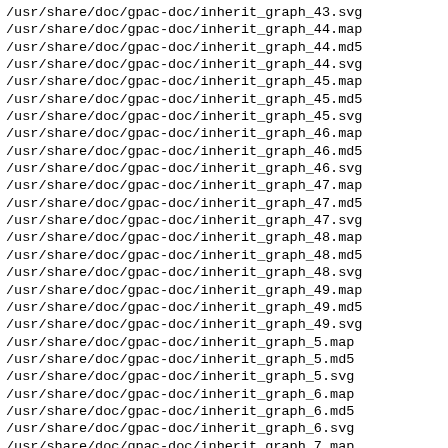/usr/share/doc/gpac-doc/inherit_graph_43.svg
/usr/share/doc/gpac-doc/inherit_graph_44.map
/usr/share/doc/gpac-doc/inherit_graph_44.md5
/usr/share/doc/gpac-doc/inherit_graph_44.svg
/usr/share/doc/gpac-doc/inherit_graph_45.map
/usr/share/doc/gpac-doc/inherit_graph_45.md5
/usr/share/doc/gpac-doc/inherit_graph_45.svg
/usr/share/doc/gpac-doc/inherit_graph_46.map
/usr/share/doc/gpac-doc/inherit_graph_46.md5
/usr/share/doc/gpac-doc/inherit_graph_46.svg
/usr/share/doc/gpac-doc/inherit_graph_47.map
/usr/share/doc/gpac-doc/inherit_graph_47.md5
/usr/share/doc/gpac-doc/inherit_graph_47.svg
/usr/share/doc/gpac-doc/inherit_graph_48.map
/usr/share/doc/gpac-doc/inherit_graph_48.md5
/usr/share/doc/gpac-doc/inherit_graph_48.svg
/usr/share/doc/gpac-doc/inherit_graph_49.map
/usr/share/doc/gpac-doc/inherit_graph_49.md5
/usr/share/doc/gpac-doc/inherit_graph_49.svg
/usr/share/doc/gpac-doc/inherit_graph_5.map
/usr/share/doc/gpac-doc/inherit_graph_5.md5
/usr/share/doc/gpac-doc/inherit_graph_5.svg
/usr/share/doc/gpac-doc/inherit_graph_6.map
/usr/share/doc/gpac-doc/inherit_graph_6.md5
/usr/share/doc/gpac-doc/inherit_graph_6.svg
/usr/share/doc/gpac-doc/inherit_graph_7.map
/usr/share/doc/gpac-doc/inherit_graph_7.md5
/usr/share/doc/gpac-doc/inherit_graph_7.svg
/usr/share/doc/gpac-doc/inherit_graph_8.map
/usr/share/doc/gpac-doc/inherit_graph_8.md5